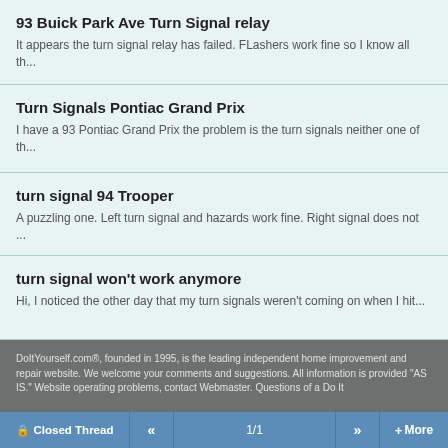93 Buick Park Ave Turn Signal relay
It appears the turn signal relay has failed. FLashers work fine so I know all th...
Turn Signals Pontiac Grand Prix
I have a 93 Pontiac Grand Prix the problem is the turn signals neither one of th...
turn signal 94 Trooper
A puzzling one. Left turn signal and hazards work fine. Right signal does not ...
turn signal won't work anymore
Hi, I noticed the other day that my turn signals weren't coming on when I hit...
DoItYourself.com®, founded in 1995, is the leading independent home improvement and repair website. We welcome your comments and suggestions. All information is provided "AS IS." Website operating problems, contact Webmaster. Questions of a Do It
Closed Thread  «  1/1  »  + More